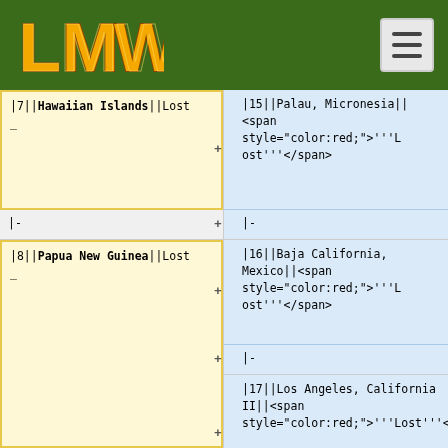LMW logo and navigation hamburger menu on green background
|7||Hawaiian Islands||Lost
|-
|8||Papua New Guinea||Lost
|15||Palau, Micronesia||<span style="color:red;">'''Lost'''</span>
|-
|16||Baja California, Mexico||<span style="color:red;">'''Lost'''</span>
|-
|17||Los Angeles, California II||<span style="color:red;">'''Lost'''</span>
|-
|18||Katmai National